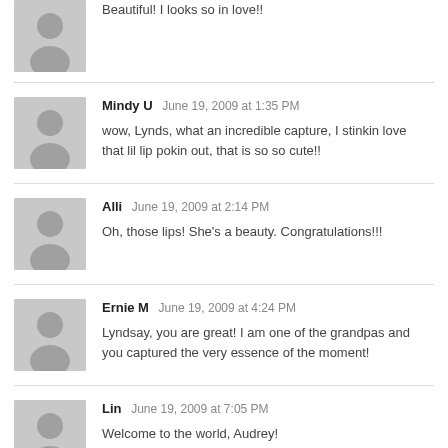Beautiful! I looks so in love!!
Mindy U  June 19, 2009 at 1:35 PM
wow, Lynds, what an incredible capture, I stinkin love that lil lip pokin out, that is so so cute!!
Alli  June 19, 2009 at 2:14 PM
Oh, those lips! She's a beauty. Congratulations!!!
Ernie M  June 19, 2009 at 4:24 PM
Lyndsay, you are great! I am one of the grandpas and you captured the very essence of the moment!
Lin  June 19, 2009 at 7:05 PM
Welcome to the world, Audrey!